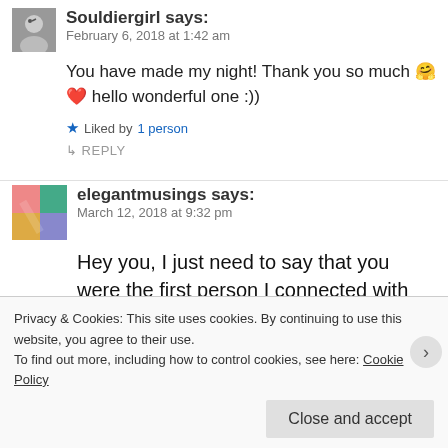Souldiergirl says:
February 6, 2018 at 1:42 am
You have made my night! Thank you so much 🤗❤️ hello wonderful one :))
Liked by 1 person
↳ REPLY
elegantmusings says:
March 12, 2018 at 9:32 pm
Hey you, I just need to say that you were the first person I connected with you here, and I was provocative, and pushy and hopefully genteel in
Privacy & Cookies: This site uses cookies. By continuing to use this website, you agree to their use.
To find out more, including how to control cookies, see here: Cookie Policy
Close and accept